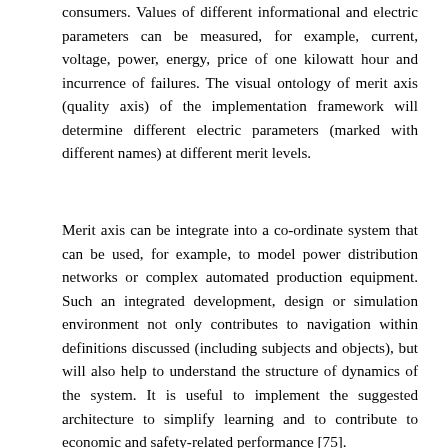consumers. Values of different informational and electric parameters can be measured, for example, current, voltage, power, energy, price of one kilowatt hour and incurrence of failures. The visual ontology of merit axis (quality axis) of the implementation framework will determine different electric parameters (marked with different names) at different merit levels.
Merit axis can be integrate into a co-ordinate system that can be used, for example, to model power distribution networks or complex automated production equipment. Such an integrated development, design or simulation environment not only contributes to navigation within definitions discussed (including subjects and objects), but will also help to understand the structure of dynamics of the system. It is useful to implement the suggested architecture to simplify learning and to contribute to economic and safety-related performance [75].